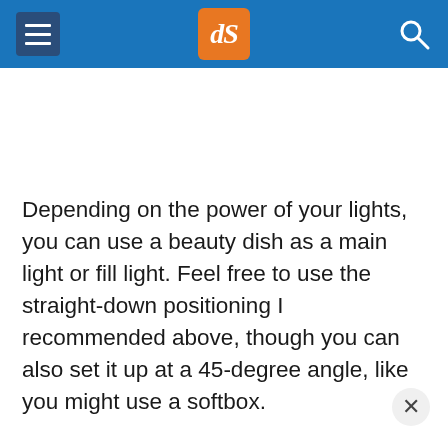dPS navigation header with hamburger menu, logo, and search icon
Depending on the power of your lights, you can use a beauty dish as a main light or fill light. Feel free to use the straight-down positioning I recommended above, though you can also set it up at a 45-degree angle, like you might use a softbox.